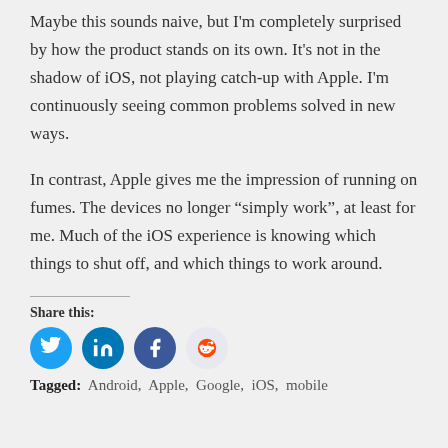Maybe this sounds naive, but I'm completely surprised by how the product stands on its own. It's not in the shadow of iOS, not playing catch-up with Apple. I'm continuously seeing common problems solved in new ways.
In contrast, Apple gives me the impression of running on fumes. The devices no longer “simply work”, at least for me. Much of the iOS experience is knowing which things to shut off, and which things to work around.
Share this:
[Figure (infographic): Four social share icon buttons: Twitter (blue bird), LinkedIn (blue), Facebook (blue), Reddit (light blue alien)]
Tagged: Android, Apple, Google, iOS, mobile